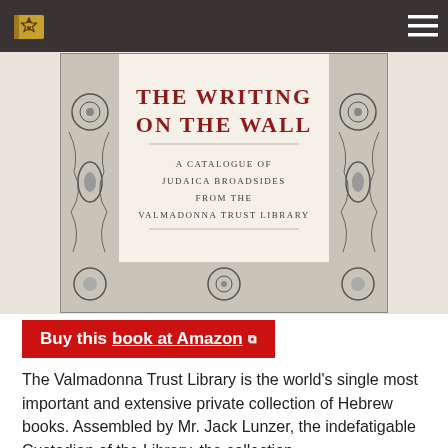[Figure (screenshot): Website navigation bar with a Star of David book logo on the left and a hamburger menu icon on the right, on a dark brown background.]
[Figure (photo): Book cover of 'The Writing on the Wall: A Catalogue of Judaica Broadsides from the Valmadonna Trust Library', showing ornate floral border engraving in black and white with dark red title text.]
Buy this book at Amazon
The Valmadonna Trust Library is the world's single most important and extensive private collection of Hebrew books. Assembled by Mr. Jack Lunzer, the indefatigable Custodian of the Library, the collection